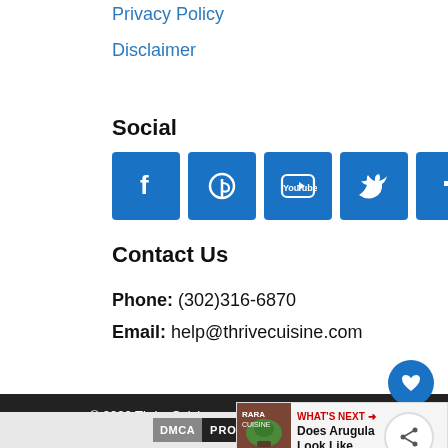Privacy Policy
Disclaimer
Social
[Figure (other): Social media icons: Facebook, Pinterest, YouTube, Twitter, Tumblr — blue square buttons]
Contact Us
Phone: (302)316-6870
Email: help@thrivecuisine.com
© 2022 ThriveCuisine.com All Rights Reserved
Exclusive Member of Mediavine F…
[Figure (other): WHAT'S NEXT → Does Arugula Look Like… teaser card with leaf photo]
DMCA PROTECTED